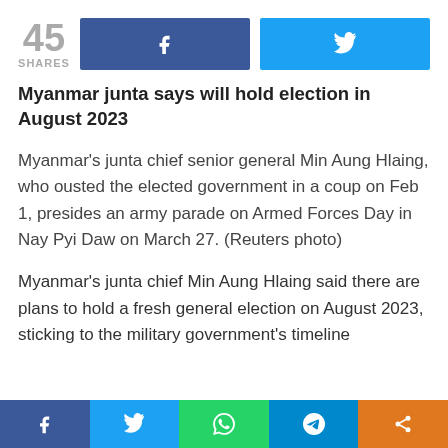[Figure (infographic): Social share bar showing 45 shares with Facebook and Twitter share buttons]
Myanmar junta says will hold election in August 2023
Myanmar’s junta chief senior general Min Aung Hlaing, who ousted the elected government in a coup on Feb 1, presides an army parade on Armed Forces Day in Nay Pyi Daw on March 27. (Reuters photo)
Myanmar’s junta chief Min Aung Hlaing said there are plans to hold a fresh general election on August 2023, sticking to the military government’s timeline
[Figure (infographic): Bottom social sharing bar with Facebook, Twitter, WhatsApp, Telegram, and share buttons]